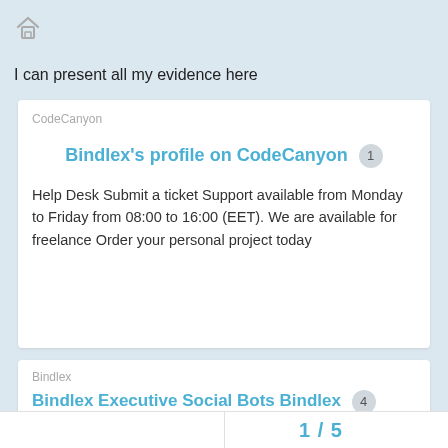[Figure (other): Home icon (house outline)]
I can present all my evidence here
CodeCanyon
Bindlex's profile on CodeCanyon 1
Help Desk Submit a ticket Support available from Monday to Friday from 08:00 to 16:00 (EET). We are available for freelance Order your personal project today
Bindlex
Bindlex Executive Social Bots Bindlex 4
1 / 5